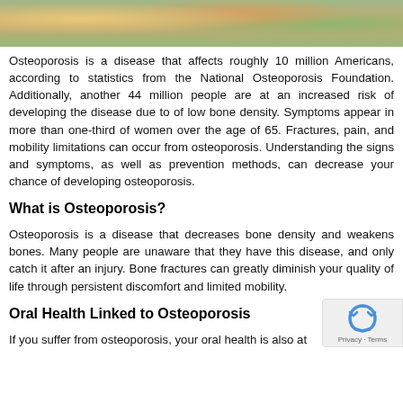[Figure (photo): Partial photo strip at top of page showing outdoor scene with warm tones, green and golden colors suggesting people or nature]
Osteoporosis is a disease that affects roughly 10 million Americans, according to statistics from the National Osteoporosis Foundation. Additionally, another 44 million people are at an increased risk of developing the disease due to of low bone density. Symptoms appear in more than one-third of women over the age of 65. Fractures, pain, and mobility limitations can occur from osteoporosis. Understanding the signs and symptoms, as well as prevention methods, can decrease your chance of developing osteoporosis.
What is Osteoporosis?
Osteoporosis is a disease that decreases bone density and weakens bones. Many people are unaware that they have this disease, and only catch it after an injury. Bone fractures can greatly diminish your quality of life through persistent discomfort and limited mobility.
Oral Health Linked to Osteoporosis
If you suffer from osteoporosis, your oral health is also at